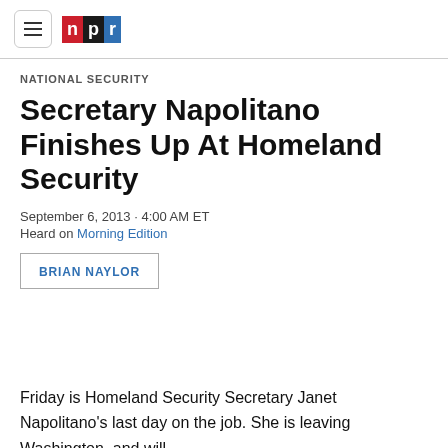NPR
NATIONAL SECURITY
Secretary Napolitano Finishes Up At Homeland Security
September 6, 2013 · 4:00 AM ET
Heard on Morning Edition
BRIAN NAYLOR
Friday is Homeland Security Secretary Janet Napolitano's last day on the job. She is leaving Washington, and will